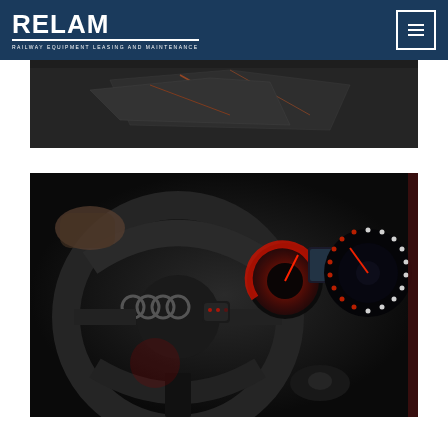RELAM - RAILWAY EQUIPMENT LEASING AND MAINTENANCE
[Figure (photo): Partial view of a dark technical/railway equipment image, top portion only visible]
[Figure (photo): Close-up interior shot of an Audi vehicle showing the steering wheel with Audi logo, illuminated red dashboard gauges and speedometer with white dot ring, and instrument cluster display]